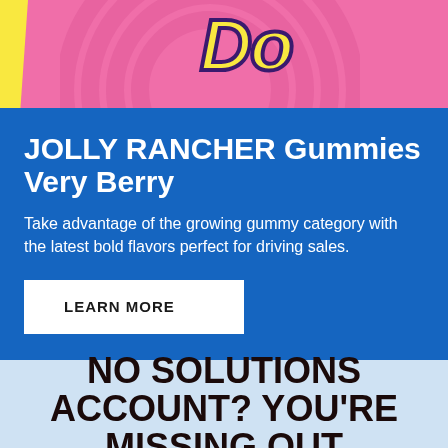[Figure (illustration): Pink banner with yellow stripe on left, circular concentric ring pattern, and stylized yellow logo text partially visible on right side]
JOLLY RANCHER Gummies Very Berry
Take advantage of the growing gummy category with the latest bold flavors perfect for driving sales.
LEARN MORE
NO SOLUTIONS ACCOUNT? YOU'RE MISSING OUT